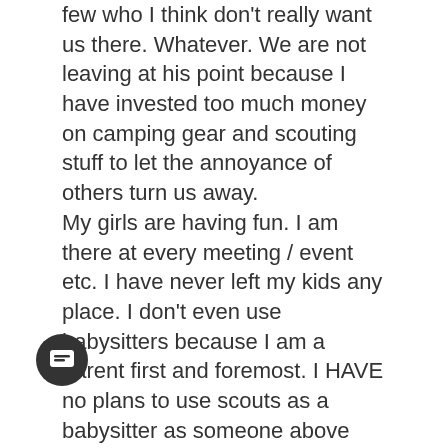few who I think don't really want us there. Whatever. We are not leaving at his point because I have invested too much money on camping gear and scouting stuff to let the annoyance of others turn us away. My girls are having fun. I am there at every meeting / event etc. I have never left my kids any place. I don't even use babysitters because I am a parent first and foremost. I HAVE no plans to use scouts as a babysitter as someone above mentioned. Most of the time it is just me and my girls. My husband has a job that requires him to be gone 2 – 3 weeks a month. I am capable. This is my normal. I am sorry we don't have a Dad to volunteer to help with the dens but I am around to do what I can while managing my other kids who are NOT in that particular day's den meeting or event What is NOT normal is being invited to participate in something only to discover that people are not REALLY sure what to do with us or if they even want us there. The most obvious push back I feel is from the Den mothers. There are moms in leadership positions and spouses of men in leadership positions and they will often forget to send us
28